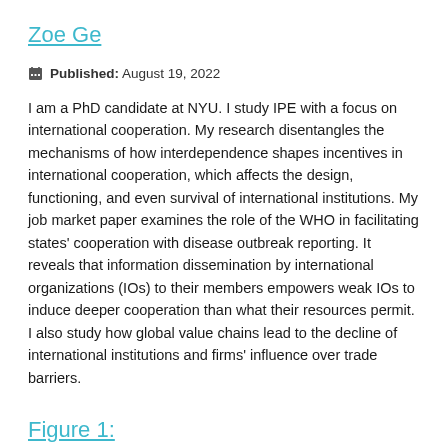Zoe Ge
Published: August 19, 2022
I am a PhD candidate at NYU. I study IPE with a focus on international cooperation. My research disentangles the mechanisms of how interdependence shapes incentives in international cooperation, which affects the design, functioning, and even survival of international institutions. My job market paper examines the role of the WHO in facilitating states’ cooperation with disease outbreak reporting. It reveals that information dissemination by international organizations (IOs) to their members empowers weak IOs to induce deeper cooperation than what their resources permit. I also study how global value chains lead to the decline of international institutions and firms’ influence over trade barriers.
Figure 1: